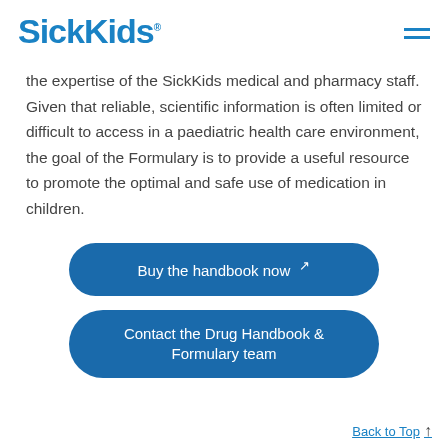SickKids
the expertise of the SickKids medical and pharmacy staff. Given that reliable, scientific information is often limited or difficult to access in a paediatric health care environment, the goal of the Formulary is to provide a useful resource to promote the optimal and safe use of medication in children.
Buy the handbook now ↗
Contact the Drug Handbook & Formulary team
Back to Top ↑